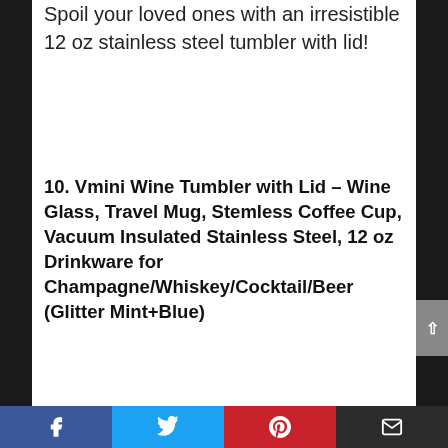Spoil your loved ones with an irresistible 12 oz stainless steel tumbler with lid!
10. Vmini Wine Tumbler with Lid – Wine Glass, Travel Mug, Stemless Coffee Cup, Vacuum Insulated Stainless Steel, 12 oz Drinkware for Champagne/Whiskey/Cocktail/Beer (Glitter Mint+Blue)
[Figure (photo): Product photo of a stainless steel wine tumbler with a rainbow-colored metal straw, and a small colorful capsule-shaped object to the right]
Facebook | Twitter | Pinterest | Email share buttons